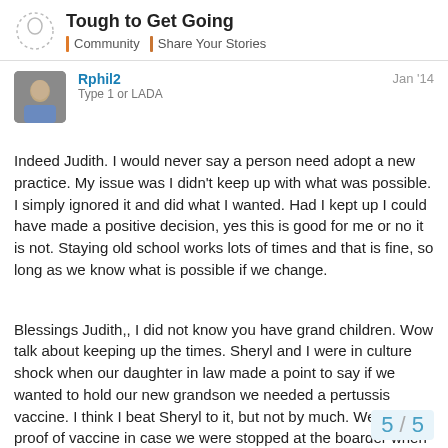Tough to Get Going | Community | Share Your Stories
Rphil2
Type 1 or LADA
Jan '14
Indeed Judith. I would never say a person need adopt a new practice. My issue was I didn't keep up with what was possible. I simply ignored it and did what I wanted. Had I kept up I could have made a positive decision, yes this is good for me or no it is not. Staying old school works lots of times and that is fine, so long as we know what is possible if we change.
Blessings Judith,, I did not know you have grand children. Wow talk about keeping up the times. Sheryl and I were in culture shock when our daughter in law made a point to say if we wanted to hold our new grandson we needed a pertussis vaccine. I think I beat Sheryl to it, but not by much. We had our proof of vaccine in case we were stopped at the boarder when we went to see that fine young man in the hospital. LOL
5 / 5